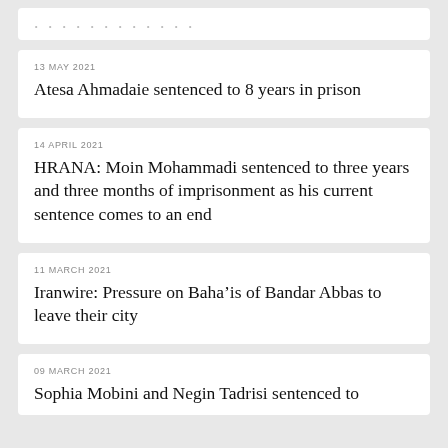(partial card visible at top)
13 MAY 2021
Atesa Ahmadaie sentenced to 8 years in prison
14 APRIL 2021
HRANA: Moin Mohammadi sentenced to three years and three months of imprisonment as his current sentence comes to an end
11 MARCH 2021
Iranwire: Pressure on Baha’is of Bandar Abbas to leave their city
09 MARCH 2021
Sophia Mobini and Negin Tadrisi sentenced to